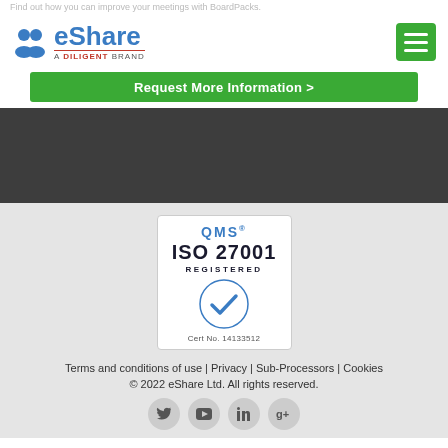[Figure (logo): eShare logo with two people icon and 'A DILIGENT BRAND' subtitle]
Find out how you can improve your meetings with BoardPacks.
Request More Information >
[Figure (illustration): QMS ISO 27001 Registered certification badge with checkmark, Cert No. 14133512]
Terms and conditions of use | Privacy | Sub-Processors | Cookies
© 2022 eShare Ltd. All rights reserved.
[Figure (other): Social media icons: Twitter, YouTube, LinkedIn, Google+]